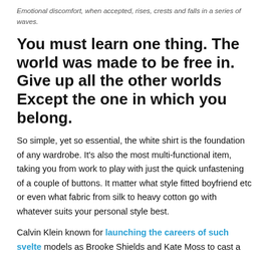Emotional discomfort, when accepted, rises, crests and falls in a series of waves.
You must learn one thing. The world was made to be free in. Give up all the other worlds Except the one in which you belong.
So simple, yet so essential, the white shirt is the foundation of any wardrobe. It's also the most multi-functional item, taking you from work to play with just the quick unfastening of a couple of buttons. It matter what style fitted boyfriend etc or even what fabric from silk to heavy cotton go with whatever suits your personal style best.
Calvin Klein known for launching the careers of such svelte models as Brooke Shields and Kate Moss to cast a